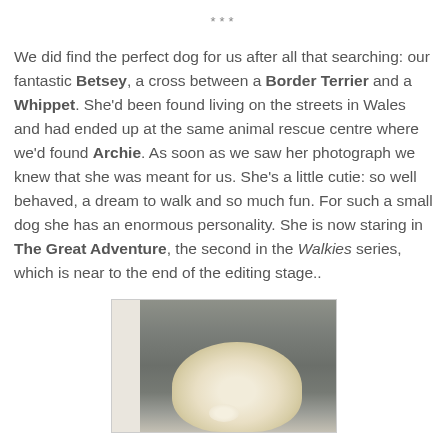***
We did find the perfect dog for us after all that searching: our fantastic Betsey, a cross between a Border Terrier and a Whippet. She'd been found living on the streets in Wales and had ended up at the same animal rescue centre where we'd found Archie. As soon as we saw her photograph we knew that she was meant for us. She's a little cutie: so well behaved, a dream to walk and so much fun. For such a small dog she has an enormous personality. She is now staring in The Great Adventure, the second in the Walkies series, which is near to the end of the editing stage..
[Figure (photo): A photo of a light-colored dog (Betsey) sitting on or near dark grey stairs, viewed from above. The dog has cream/blonde fur.]